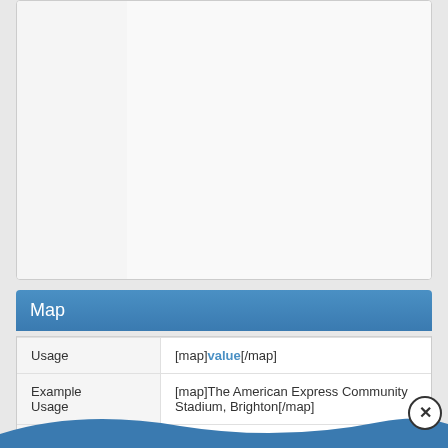[Figure (screenshot): Two-column panel with left column (narrower, light gray background) and right column (wider, light gray background), both empty content areas with dividing border.]
Map
| Usage | Example Usage |
| --- | --- |
| Usage | [map]value[/map] |
| Example Usage | [map]The American Express Community Stadium, Brighton[/map] |